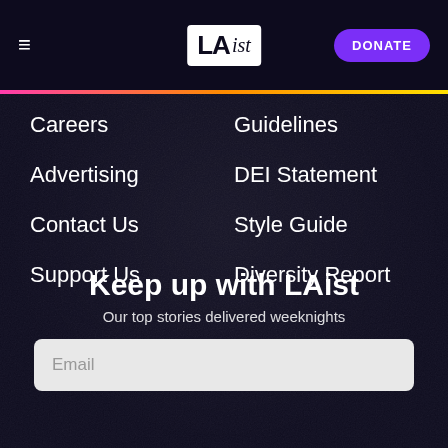LAist | DONATE
Guidelines
Careers
DEI Statement
Advertising
Style Guide
Contact Us
Diversity Report
Support Us
Keep up with LAist
Our top stories delivered weeknights
Email